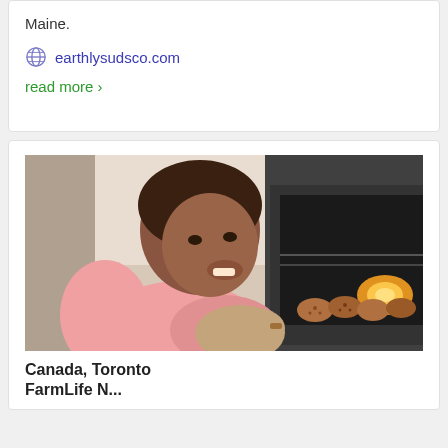Maine.
earthlysudsco.com
read more >
[Figure (photo): A child in a pink shirt wearing oven mitts, leaning over an open oven with cookies on the rack and the oven light glowing]
Canada, Toronto
FarmLife N...